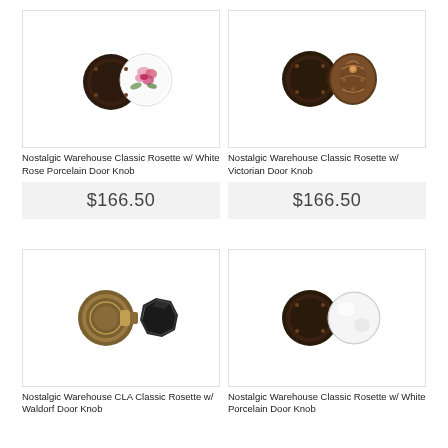[Figure (photo): Nostalgic Warehouse Classic Rosette with White Rose Porcelain Door Knob product photo — dark bronze rosette plate with white porcelain knob featuring pink rose pattern]
Nostalgic Warehouse Classic Rosette w/ White Rose Porcelain Door Knob
$166.50
[Figure (photo): Nostalgic Warehouse Classic Rosette with Victorian Door Knob product photo — dark bronze rosette plate with ornate Victorian-style bronze knob]
Nostalgic Warehouse Classic Rosette w/ Victorian Door Knob
$166.50
[Figure (photo): Nostalgic Warehouse CLA Classic Rosette with Waldorf Door Knob product photo — antique brass rosette plate with black faceted octagonal knob]
Nostalgic Warehouse CLA Classic Rosette w/ Waldorf Door Knob
[Figure (photo): Nostalgic Warehouse Classic Rosette with White Porcelain Door Knob product photo — dark bronze rosette plate with white porcelain round knob]
Nostalgic Warehouse Classic Rosette w/ White Porcelain Door Knob